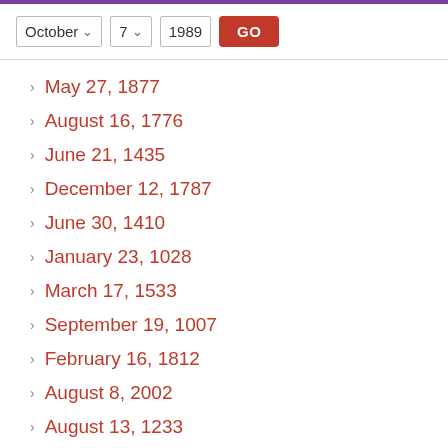October 7 1989 GO
May 27, 1877
August 16, 1776
June 21, 1435
December 12, 1787
June 30, 1410
January 23, 1028
March 17, 1533
September 19, 1007
February 16, 1812
August 8, 2002
August 13, 1233